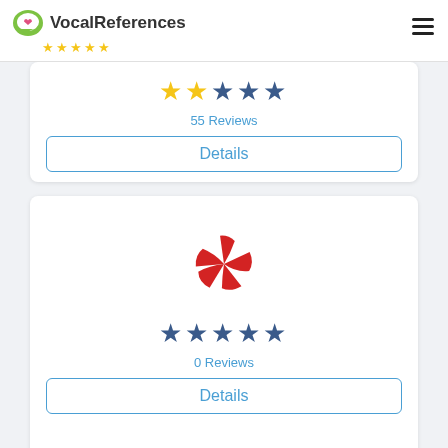[Figure (logo): VocalReferences logo with speech bubble icon and five gold stars below]
[Figure (other): Star rating showing 2 yellow stars and 3 dark blue stars out of 5]
55 Reviews
Details
[Figure (logo): Yelp logo — red starburst/pinwheel shape]
[Figure (other): Star rating showing 5 dark blue stars out of 5]
0 Reviews
Details